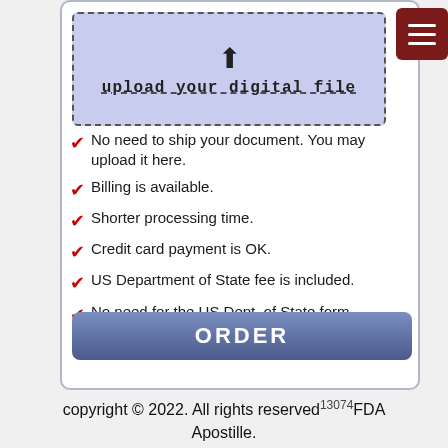[Figure (screenshot): Upload file box with dashed border, blue-lavender background, upload icon and 'upload your digital file' text]
No need to ship your document. You may upload it here.
Billing is available.
Shorter processing time.
Credit card payment is OK.
US Department of State fee is included.
No need for the US Dept. of State form.
Track your history and spending online.
ORDER
copyright © 2022. All rights reserved 13074 FDA Apostille.